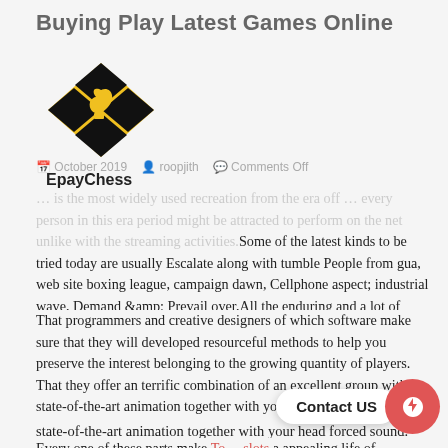Buying Play Latest Games Online
[Figure (logo): EpayChess logo: yellow and black checkered diamond shape with a chess knight, text 'EpayChess' below]
October 2019   roopjith   Comments Off
…is the most widely used recreation from the era off … every person in this era period might be attracted to perform on the net unlike with the streaming activities.Some of the latest kinds to be tried today are usually Escalate along with tumble People from gua, web site boxing league, campaign dawn, Cellphone aspect; industrial wave, Demand &amp; Prevail over,All the enduring and a lot of more.
That programmers and creative designers of which software make sure that they will developed resourceful methods to help you preserve the interest belonging to the growing quantity of players. That they offer an terrific combination of an excellent group with state-of-the-art animation together with your head forced sound.
Every one of these parts make Top… slots a appealing life of electronic… it is… to pull in you to definitely examine it. As of late abrupt mmorpgs are receiving seriously popular with the online gambling